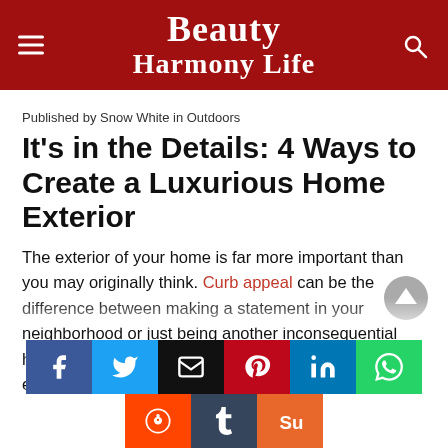Beauty Harmony Life
Published by Snow White in Outdoors
It’s in the Details: 4 Ways to Create a Luxurious Home Exterior
The exterior of your home is far more important than you may originally think. Curb appeal can be the difference between making a statement in your neighborhood or just being another inconsequential house. For those who want to sell their home eventually, investing in their curb